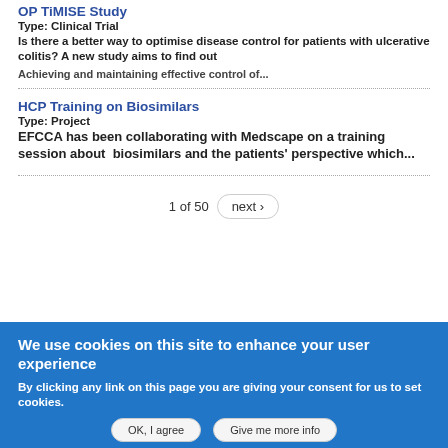OP TiMISE Study
Type: Clinical Trial
Is there a better way to optimise disease control for patients with ulcerative colitis? A new study aims to find out
Achieving and maintaining effective control of...
HCP Training on Biosimilars
Type: Project
EFCCA has been collaborating with Medscape on a training session about  biosimilars and the patients' perspective which...
1 of 50  next ›
We use cookies on this site to enhance your user experience
By clicking any link on this page you are giving your consent for us to set cookies.
OK, I agree   Give me more info